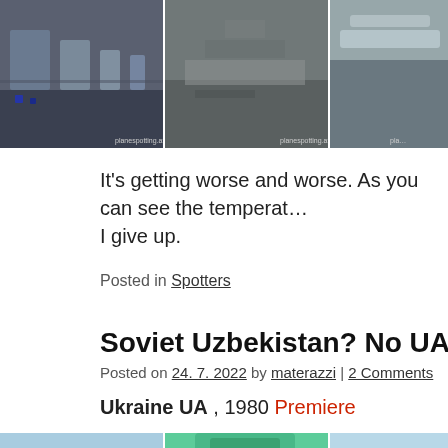[Figure (photo): Three photos in a row showing outdoor scenes, with watermarks reading 'planespotting.at']
It's getting worse and worse. As you can see the temperat… I give up.
Posted in Spotters
Soviet Uzbekistan? No UA 1980. Both exa…
Posted on 24. 7. 2022 by materazzi | 2 Comments
Ukraine UA , 1980 Premiere
[Figure (photo): Three photos in a row: aerial bridge/road view, top-down view of green van, outdoor scene with people]